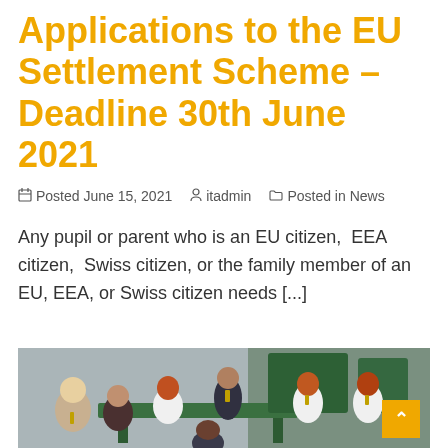Applications to the EU Settlement Scheme – Deadline 30th June 2021
Posted June 15, 2021   itadmin   Posted in News
Any pupil or parent who is an EU citizen, EEA citizen, Swiss citizen, or the family member of an EU, EEA, or Swiss citizen needs [...]
[Figure (photo): Group of school students in uniforms sitting around a green outdoor table]